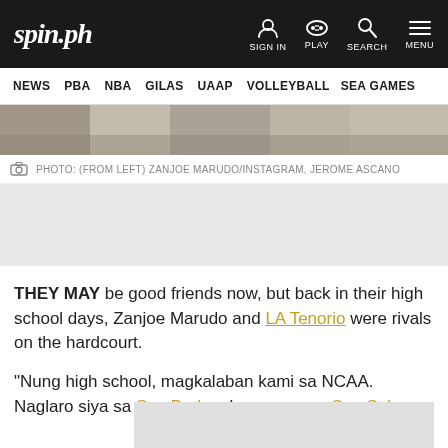spin.ph | SIGN IN | PLAY | SEARCH | MENU
NEWS | PBA | NBA | GILAS | UAAP | VOLLEYBALL | SEA GAMES
[Figure (photo): Partial photo strip showing food/items on a table]
PHOTO: (FROM LEFT) ZANJOE MARUDO/INSTAGRAM, JEROME ASCANO
THEY MAY be good friends now, but back in their high school days, Zanjoe Marudo and LA Tenorio were rivals on the hardcourt.
“Nung high school, magkalaban kami sa NCAA. Naglaro siya sa San Beda, ako naman sa San Sebas…